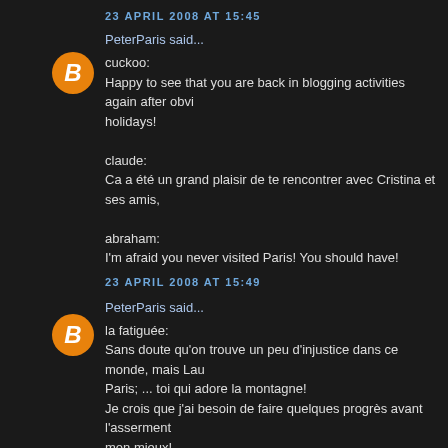23 APRIL 2008 AT 15:45
PeterParis said...
cuckoo:
Happy to see that you are back in blogging activities again after obvi holidays!

claude:
Ca a été un grand plaisir de te rencontrer avec Cristina et ses amis,

abraham:
I'm afraid you never visited Paris! You should have!
23 APRIL 2008 AT 15:49
PeterParis said...
la fatiguée:
Sans doute qu'on trouve un peu d'injustice dans ce monde, mais Lau Paris; ... toi qui adore la montagne!
Je crois que j'ai besoin de faire quelques progrès avant l'asserment mon mieux!